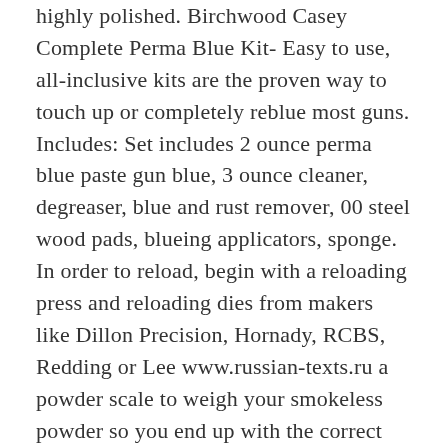highly polished. Birchwood Casey Complete Perma Blue Kit- Easy to use, all-inclusive kits are the proven way to touch up or completely reblue most guns. Includes: Set includes 2 ounce perma blue paste gun blue, 3 ounce cleaner, degreaser, blue and rust remover, 00 steel wood pads, blueing applicators, sponge. In order to reload, begin with a reloading press and reloading dies from makers like Dillon Precision, Hornady, RCBS, Redding or Lee www.russian-texts.ru a powder scale to weigh your smokeless powder so you end up with the correct charge in your handloads. Or, consider a reloading kit which will come with almost all the reloading supplies needed to make quality. Birchwood Casey, Westlake Market Super Blue Liquid Gun Blue Bottle - Double Strength Bluing Plus 25 Quality Cotton Swabs and 3" Cotton Patches for Restoring Guns and Other Metal Items out of 5 stars (89) 89 product ratings - Birchwood